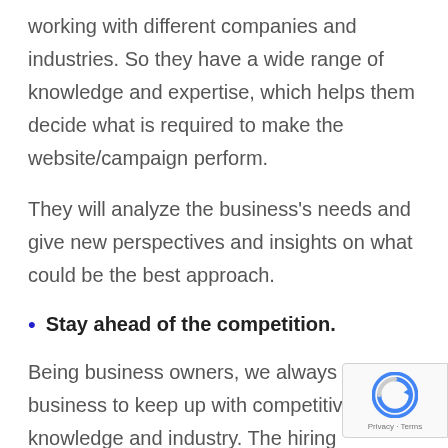working with different companies and industries. So they have a wide range of knowledge and expertise, which helps them decide what is required to make the website/campaign perform.
They will analyze the business’s needs and give new perspectives and insights on what could be the best approach.
Stay ahead of the competition.
Being business owners, we always want our business to keep up with competitive knowledge and industry. The hiring outsourcing company will help businesses work with professionals that boast a breadth